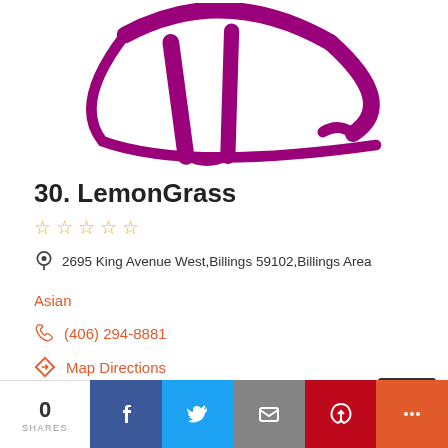[Figure (logo): LemonGrass restaurant logo - chef hat shape in magenta/purple color]
30. LemonGrass
☆ ☆ ☆ ☆ ☆ (star rating, all empty)
2695 King Avenue West, Billings 59102, Billings Area
Asian
(406) 294-8881
Map Directions
0 SHARES | Facebook | Twitter | Email | Pinterest | More